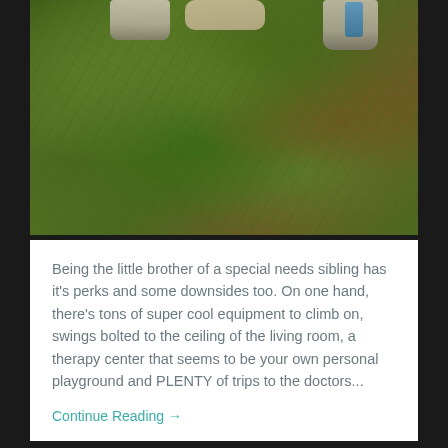[Figure (photo): Aerial view looking down at children's feet/shoes standing over dense green and brown leafy ground cover plants. One child wears white canvas sneakers, another appears to have hands visible. A blue water bottle is partially visible.]
Being the little brother of a special needs sibling has it's perks and some downsides too. On one hand, there's tons of super cool equipment to climb on, swings bolted to the ceiling of the living room, a therapy center that seems to be your own personal playground and PLENTY of trips to the doctors...
Continue Reading →